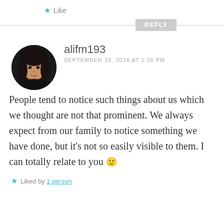★ Like
REPLY
[Figure (photo): Circular avatar photo of commenter alifm193, showing a young woman with dark hair against a dark background.]
alifm193
SEPTEMBER 19, 2014 AT 2:26 PM
People tend to notice such things about us which we thought are not that prominent. We always expect from our family to notice something we have done, but it's not so easily visible to them. I can totally relate to you 🙂
★ Liked by 1 person